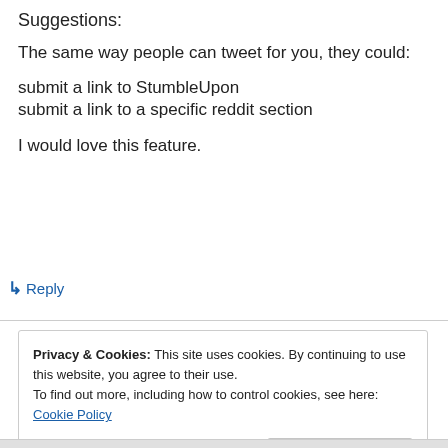Suggestions:
The same way people can tweet for you, they could:
submit a link to StumbleUpon
submit a link to a specific reddit section
I would love this feature.
↳ Reply
Privacy & Cookies: This site uses cookies. By continuing to use this website, you agree to their use.
To find out more, including how to control cookies, see here: Cookie Policy
Close and accept